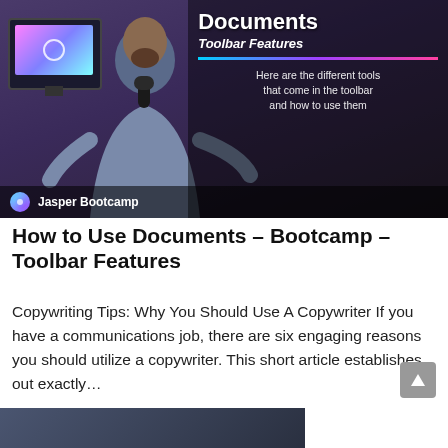[Figure (screenshot): Video thumbnail for 'How to Use Documents – Bootcamp – Toolbar Features' from Jasper Bootcamp. Shows a man with beard speaking into a microphone in front of a monitor displaying a colorful gradient. Right side has text overlay: 'Documents', 'Toolbar Features', and 'Here are the different tools that come in the toolbar and how to use them'. Bottom bar shows Jasper Bootcamp logo and name.]
How to Use Documents – Bootcamp – Toolbar Features
Copywriting Tips: Why You Should Use A Copywriter If you have a communications job, there are six engaging reasons you should utilize a copywriter. This short article establishes out exactly…
CONTINUE READING »